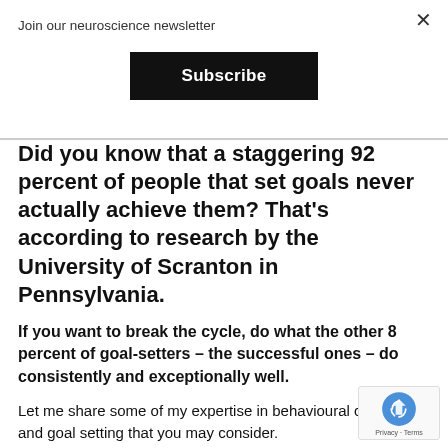Join our neuroscience newsletter
Subscribe
Did you know that a staggering 92 percent of people that set goals never actually achieve them? That’s according to research by the University of Scranton in Pennsylvania.
If you want to break the cycle, do what the other 8 percent of goal-setters – the successful ones – do consistently and exceptionally well.
Let me share some of my expertise in behavioural change and goal setting that you may consider.
Early slips do not predict failure. It is how you code a with the ‘challenge-response’ when things don’t go to It’s during the challenge-response that we grow and learn the